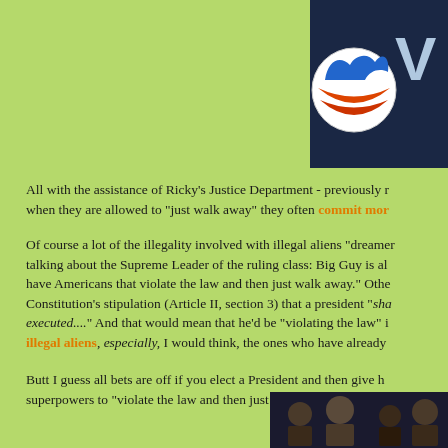[Figure (photo): Partial view of a political banner/sign with blue background showing running figures logo and large letters 'VO' visible on the right side, resembling an Obama-era voter registration graphic.]
All with the assistance of Ricky's Justice Department - previously r when they are allowed to "just walk away" they often commit mor
Of course a lot of the illegality involved with illegal aliens "dreamer talking about the Supreme Leader of the ruling class: Big Guy is al have Americans that violate the law and then just walk away." Othe Constitution's stipulation (Article II, section 3) that a president "sha executed...." And that would mean that he'd be "violating the law" i illegal aliens, especially, I would think, the ones who have already
Butt I guess all bets are off if you elect a President and then give h superpowers to "violate the law and then just walk away." For insta
[Figure (photo): Partial view of people at what appears to be a political event or press conference, dark background.]